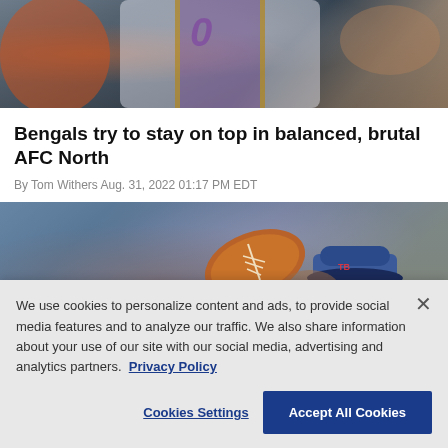[Figure (photo): Top portion of a sports photo showing football players, one wearing a purple and gold Ravens jersey with number 0]
Bengals try to stay on top in balanced, brutal AFC North
By Tom Withers Aug. 31, 2022 01:17 PM EDT
[Figure (photo): Sports photo showing a football and a player wearing a blue Buccaneers cap]
We use cookies to personalize content and ads, to provide social media features and to analyze our traffic. We also share information about your use of our site with our social media, advertising and analytics partners.  Privacy Policy
Cookies Settings    Accept All Cookies